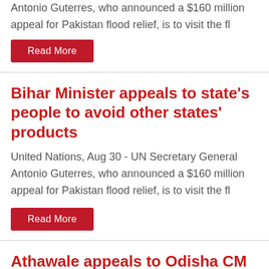Antonio Guterres, who announced a $160 million appeal for Pakistan flood relief, is to visit the fl
Read More
Bihar Minister appeals to state's people to avoid other states' products
United Nations, Aug 30 - UN Secretary General Antonio Guterres, who announced a $160 million appeal for Pakistan flood relief, is to visit the fl
Read More
Athawale appeals to Odisha CM to consider rejoining NDA
United Nations, Aug 30 - UN Secretary General